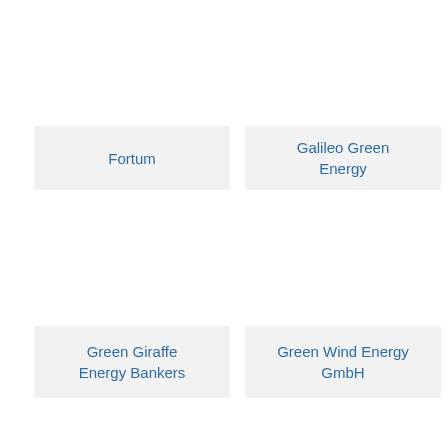[Figure (logo): Fortum company logo card with text 'Fortum' in blue on light grey background]
[Figure (logo): Galileo Green Energy company logo card with text 'Galileo Green Energy' in blue on light grey background]
[Figure (logo): Green Giraffe Energy Bankers company logo card with text 'Green Giraffe Energy Bankers' in blue on light grey background]
[Figure (logo): Green Wind Energy GmbH company logo card with text 'Green Wind Energy GmbH' in blue on light grey background]